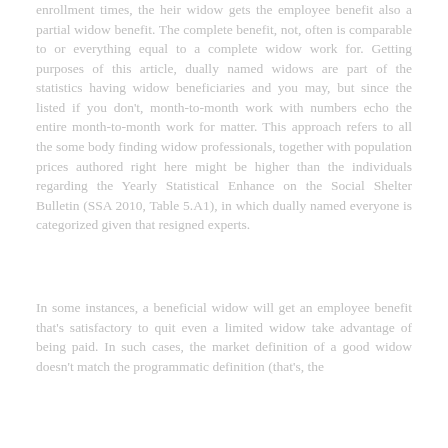enrollment times, the heir widow gets the employee benefit also a partial widow benefit. The complete benefit, not, often is comparable to or everything equal to a complete widow work for. Getting purposes of this article, dually named widows are part of the statistics having widow beneficiaries and you may, but since the listed if you don't, month-to-month work with numbers echo the entire month-to-month work for matter. This approach refers to all the some body finding widow professionals, together with population prices authored right here might be higher than the individuals regarding the Yearly Statistical Enhance on the Social Shelter Bulletin (SSA 2010, Table 5.A1), in which dually named everyone is categorized given that resigned experts.
In some instances, a beneficial widow will get an employee benefit that's satisfactory to quit even a limited widow take advantage of being paid. In such cases, the market definition of a good widow doesn't match the programmatic definition (that's, the